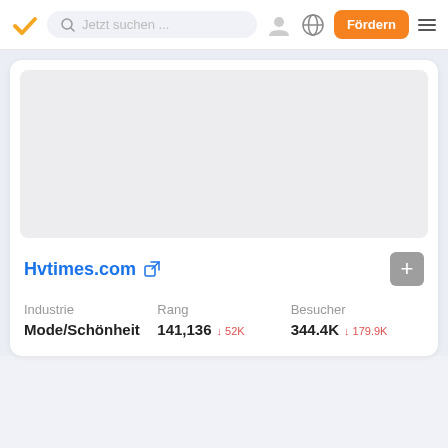Jetzt suchen ... | Fördern
[Figure (screenshot): Gray placeholder image area for Hvtimes.com website preview]
Hvtimes.com
| Industrie | Rang | Besucher |
| --- | --- | --- |
| Mode/Schönheit | 141,136 ↓52K | 344.4K ↓179.9K |